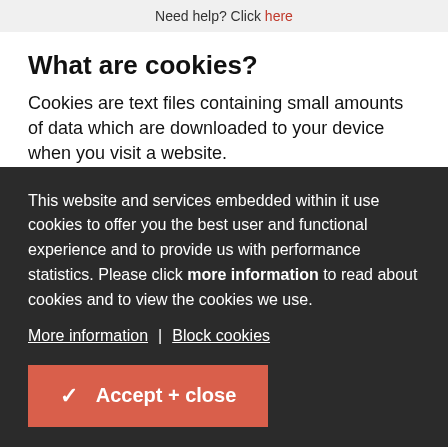Need help? Click here
What are cookies?
Cookies are text files containing small amounts of data which are downloaded to your device when you visit a website.
This website and services embedded within it use cookies to offer you the best user and functional experience and to provide us with performance statistics. Please click more information to read about cookies and to view the cookies we use.
More information | Block cookies
✔ Accept + close